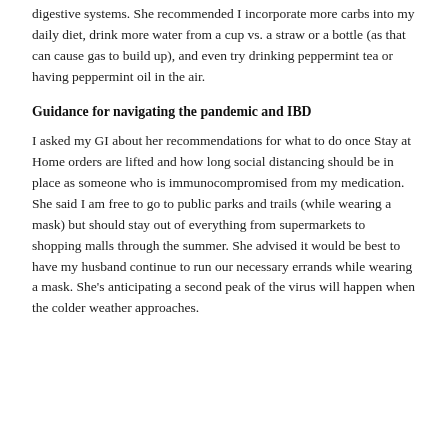digestive systems. She recommended I incorporate more carbs into my daily diet, drink more water from a cup vs. a straw or a bottle (as that can cause gas to build up), and even try drinking peppermint tea or having peppermint oil in the air.
Guidance for navigating the pandemic and IBD
I asked my GI about her recommendations for what to do once Stay at Home orders are lifted and how long social distancing should be in place as someone who is immunocompromised from my medication. She said I am free to go to public parks and trails (while wearing a mask) but should stay out of everything from supermarkets to shopping malls through the summer. She advised it would be best to have my husband continue to run our necessary errands while wearing a mask. She's anticipating a second peak of the virus will happen when the colder weather approaches.